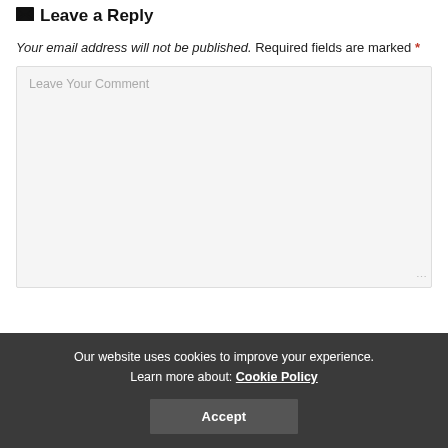Leave a Reply
Your email address will not be published. Required fields are marked *
Leave Your Comment
Our website uses cookies to improve your experience. Learn more about: Cookie Policy
Accept